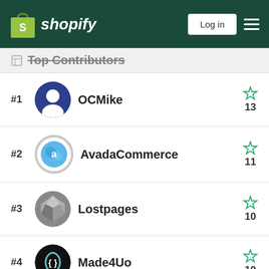Shopify — Log in
Top Contributors
#1 OCMike — 13 stars
#2 AvadaCommerce — 11 stars
#3 Lostpages — 10 stars
#4 Made4Uo — 10 stars
#5 BRStore